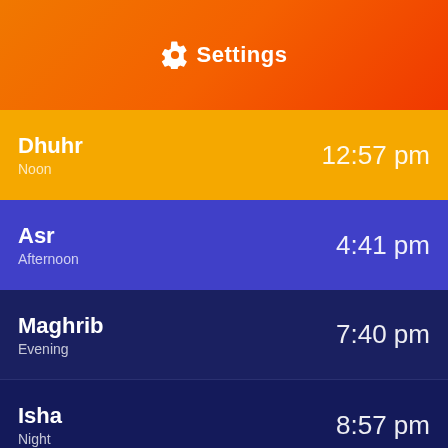Settings
Dhuhr | Noon | 12:57 pm
Asr | Afternoon | 4:41 pm
Maghrib | Evening | 7:40 pm
Isha | Night | 8:57 pm
Prayer Times › Illinois › Golconda
This website uses 'cookies' to give you the best, most relevant experience. Using this website means you're agree with this.